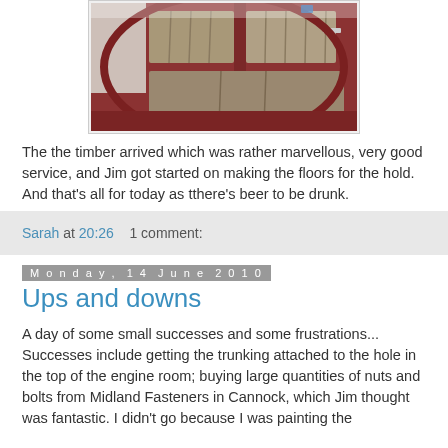[Figure (photo): Photo of wooden floor panels inside a red-painted boat hold]
The the timber arrived which was rather marvellous, very good service, and Jim got started on making the floors for the hold. And that's all for today as tthere's beer to be drunk.
Sarah at 20:26    1 comment:
Monday, 14 June 2010
Ups and downs
A day of some small successes and some frustrations... Successes include getting the trunking attached to the hole in the top of the engine room; buying large quantities of nuts and bolts from Midland Fasteners in Cannock, which Jim thought was fantastic. I didn't go because I was painting the